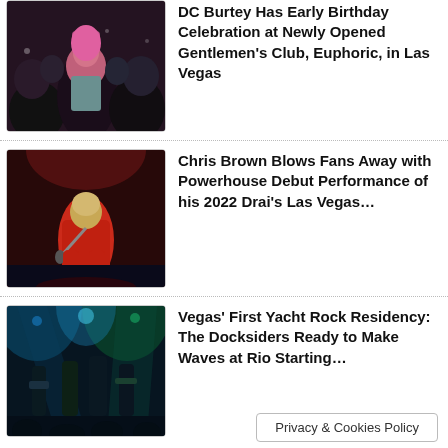[Figure (photo): Group of people partying at a nightclub, woman with pink hair in center]
DC Burtey Has Early Birthday Celebration at Newly Opened Gentlemen's Club, Euphoric, in Las Vegas
[Figure (photo): Chris Brown performing on stage in red jacket, holding microphone]
Chris Brown Blows Fans Away with Powerhouse Debut Performance of his 2022 Drai's Las Vegas…
[Figure (photo): Band performing on stage with colorful blue and green lights at a concert venue]
Vegas' First Yacht Rock Residency: The Docksiders Ready to Make Waves at Rio Starting…
Privacy & Cookies Policy